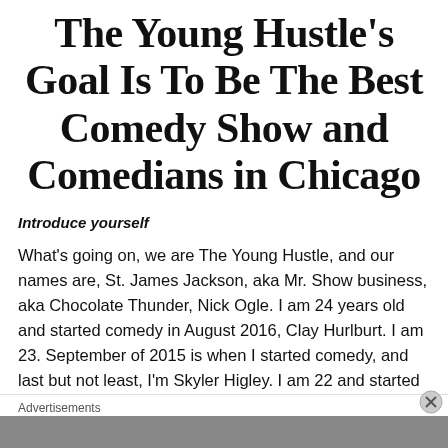The Young Hustle's Goal Is To Be The Best Comedy Show and Comedians in Chicago
Introduce yourself
What's going on, we are The Young Hustle, and our names are, St. James Jackson, aka Mr. Show business, aka Chocolate Thunder, Nick Ogle. I am 24 years old and started comedy in August 2016, Clay Hurlburt. I am 23. September of 2015 is when I started comedy, and last but not least, I'm Skyler Higley. I am 22 and started in September of 2016.
Advertisements